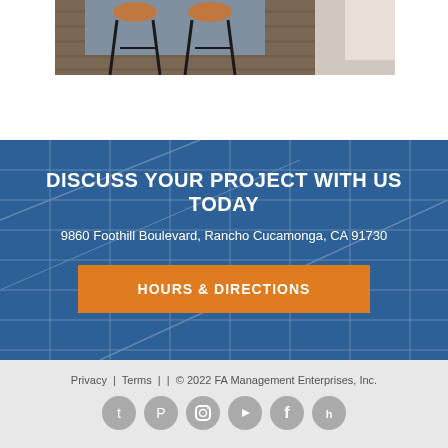[Figure (photo): Interior photo showing bar stools and hardwood flooring with a kitchen island in the background]
DISCUSS YOUR PROJECT WITH US TODAY
9860 Foothill Boulevard,  Rancho Cucamonga, CA 91730
HOURS & DIRECTIONS
Privacy  |  Terms  |  |  © 2022 FA Management Enterprises, Inc.